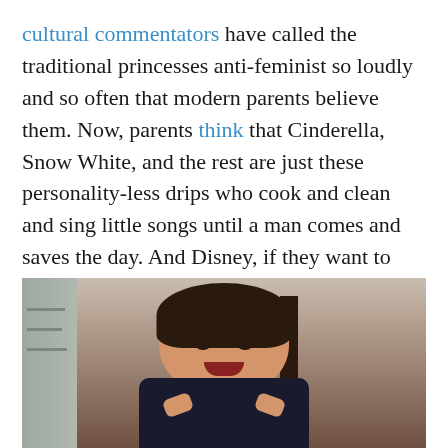cultural commentators have called the traditional princesses anti-feminist so loudly and so often that modern parents believe them. Now, parents think that Cinderella, Snow White, and the rest are just these personality-less drips who cook and clean and sing little songs until a man comes and saves the day. And Disney, if they want to stay relevant, has to do something to prove them wrong. But this — this ad campaign and the messages it sends — just can't be it.
[Figure (photo): A young girl making an angry or fierce face with her fists raised near her face, in what appears to be a school hallway with lockers visible in the background.]